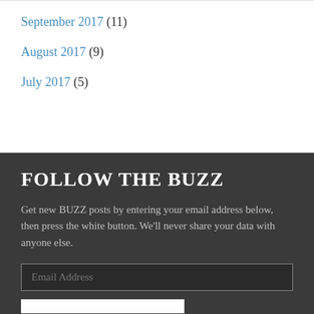September 2017 (11)
August 2017 (9)
July 2017 (5)
FOLLOW THE BUZZ
Get new BUZZ posts by entering your email address below, then press the white button. We'll never share your data with anyone else.